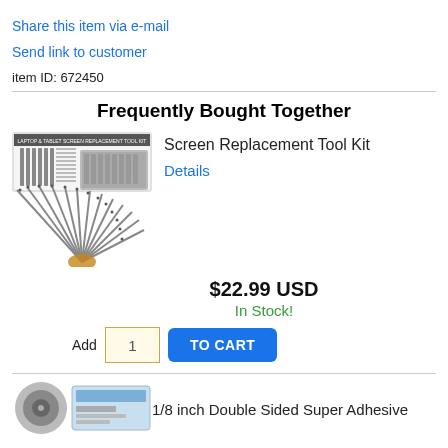Share this item via e-mail
Send link to customer
item ID: 672450
Frequently Bought Together
[Figure (photo): Screen Replacement Tool Kit product image showing a set of screwdrivers fanned out with a case]
Screen Replacement Tool Kit
Details
$22.99 USD
In Stock!
Add 1 TO CART
[Figure (photo): Two small product images at the bottom: a circular tape roll and a rectangular product box]
1/8 inch Double Sided Super Adhesive